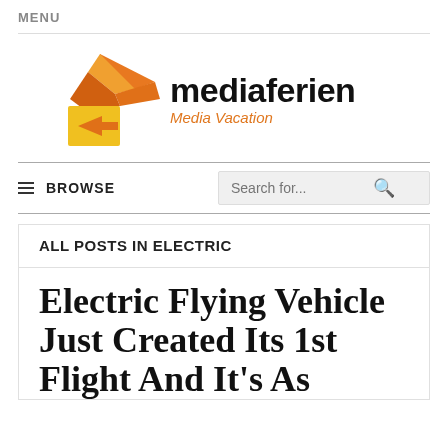MENU
[Figure (logo): Mediaferien logo with orange/yellow arrow-like graphic and text 'mediaferien Media Vacation']
BROWSE  Search for...
ALL POSTS IN ELECTRIC
Electric Flying Vehicle Just Created Its 1st Flight And It's As